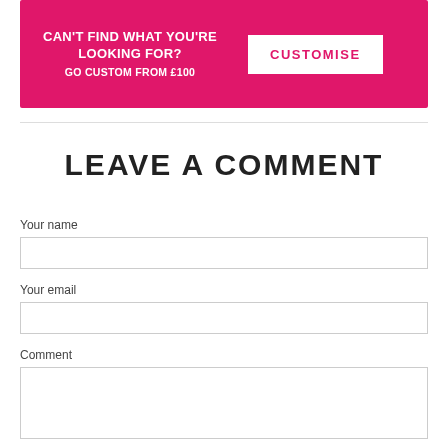[Figure (infographic): Pink/magenta banner with white text 'CAN'T FIND WHAT YOU'RE LOOKING FOR? GO CUSTOM FROM £100' and a white 'CUSTOMISE' button on the right]
LEAVE A COMMENT
Your name
Your email
Comment